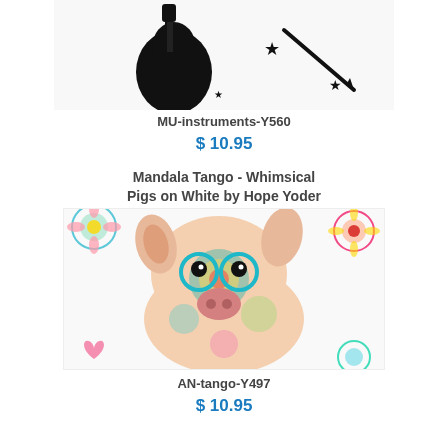[Figure (photo): Partial image of music instruments (guitar silhouette, stars, pencil) in black and white, cropped at top]
MU-instruments-Y560
$ 10.95
Mandala Tango - Whimsical Pigs on White by Hope Yoder
[Figure (photo): Colorful mandala-style whimsical pig wearing glasses on white background with mandala flowers]
AN-tango-Y497
$ 10.95